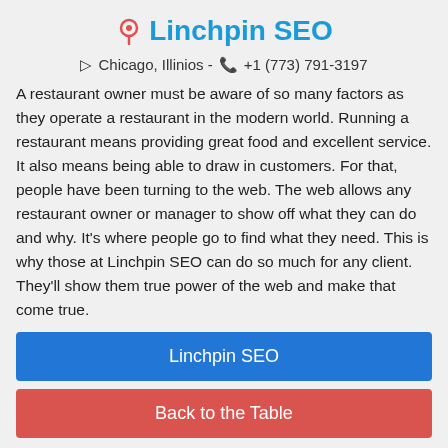Linchpin SEO
Chicago, Illinios - +1 (773) 791-3197
A restaurant owner must be aware of so many factors as they operate a restaurant in the modern world. Running a restaurant means providing great food and excellent service. It also means being able to draw in customers. For that, people have been turning to the web. The web allows any restaurant owner or manager to show off what they can do and why. It's where people go to find what they need. This is why those at Linchpin SEO can do so much for any client. They'll show them true power of the web and make that come true.
Linchpin SEO
Back to the Table